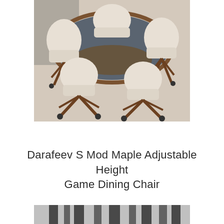[Figure (photo): A game/poker table with a dark blue/gray playing surface, oval shaped, surrounded by multiple upholstered swivel chairs with wooden star-base legs on casters. The chairs are light beige/cream fabric. The setting appears to be a showroom or game room with light-colored flooring.]
Darafeev S Mod Maple Adjustable Height Game Dining Chair
[Figure (photo): Partial view of a chair or furniture piece, cropped at the bottom of the page, showing dark structural elements.]